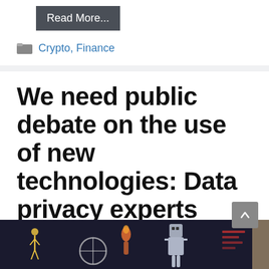Read More...
Crypto, Finance
We need public debate on the use of new technologies: Data privacy experts
August 28, 2022
[Figure (illustration): Dark illustration with robotic/tech figures at the bottom of the page]